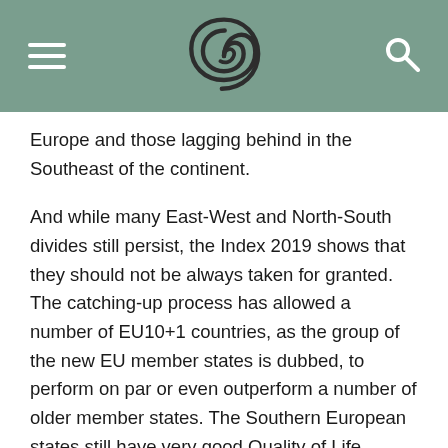[Logo: spiral icon, hamburger menu, search icon]
Europe and those lagging behind in the Southeast of the continent.
And while many East-West and North-South divides still persist, the Index 2019 shows that they should not be always taken for granted. The catching-up process has allowed a number of EU10+1 countries, as the group of the new EU member states is dubbed, to perform on par or even outperform a number of older member states. The Southern European states still have very good Quality of Life indicators and mostly solid results in Democracy and Governance, despite reversals in recent years.
A trio of EU10+1 countries – Estonia, Czech Republic and Slovenia – is showcasing the catching-up process as they